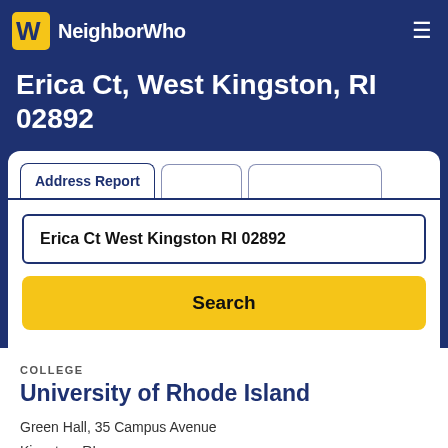NeighborWho
Erica Ct, West Kingston, RI 02892
Address Report | For Sale | Pre-foreclosures
Erica Ct West Kingston RI 02892
Search
COLLEGE
University of Rhode Island
Green Hall, 35 Campus Avenue
Kingston, RI
3.2 miles away